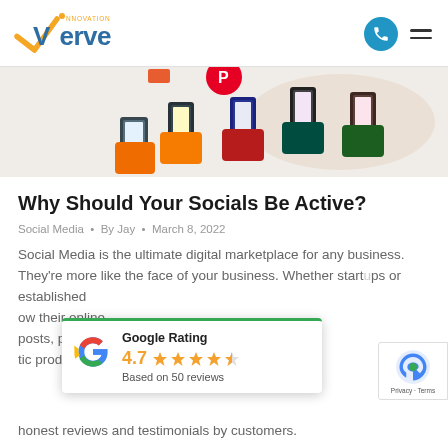[Figure (logo): Innovation Verve logo with checkmark and 'INNOVATION VERVE' text in gold/blue]
[Figure (illustration): Multiple hands holding smartphones with social media icons (Pinterest, etc.) on a light background]
Why Should Your Socials Be Active?
Social Media  •  By Jay  •  March 8, 2022
Social Media is the ultimate digital marketplace for any business. They're more like the face of your business. Whether startups or established [businesses] ow their online [presence through] posts, product [delivery and] tic product deliveri[ng] honest reviews and testimonials by customers.
[Figure (infographic): Google Rating widget showing 4.7 stars based on 50 reviews with Google G logo]